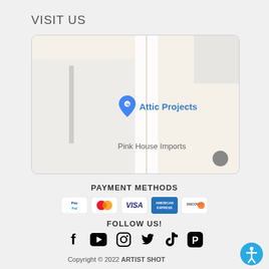VISIT US
[Figure (map): Google Maps embed showing location of Attic Projects store with a blue map pin. Pink House Imports label visible nearby. Typical map layout with street grid, white road strips, and grey building blocks.]
PAYMENT METHODS
[Figure (infographic): Payment method icons: PayPal, Mastercard, Visa, American Express, Discover]
FOLLOW US!
[Figure (infographic): Social media icons: Facebook, YouTube, Instagram, Twitter, TikTok, Pinterest]
Copyright © 2022 ARTIST SHOT